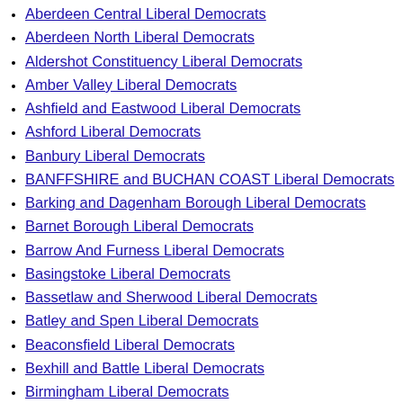Aberdeen Central Liberal Democrats
Aberdeen North Liberal Democrats
Aldershot Constituency Liberal Democrats
Amber Valley Liberal Democrats
Ashfield and Eastwood Liberal Democrats
Ashford Liberal Democrats
Banbury Liberal Democrats
BANFFSHIRE and BUCHAN COAST Liberal Democrats
Barking and Dagenham Borough Liberal Democrats
Barnet Borough Liberal Democrats
Barrow And Furness Liberal Democrats
Basingstoke Liberal Democrats
Bassetlaw and Sherwood Liberal Democrats
Batley and Spen Liberal Democrats
Beaconsfield Liberal Democrats
Bexhill and Battle Liberal Democrats
Birmingham Liberal Democrats
Bishop Auckland Liberal Democrats
Blackley and Broughton Liberal Democrats
Blackpool Liberal Democrats
Blaenau Gwent and Torfaen Liberal Democrats
Blyth Valley Liberal Democrats
Bolsover Liberal Democrats
Boston and Skegness Liberal Democrats
Bournemouth Liberal Democrats